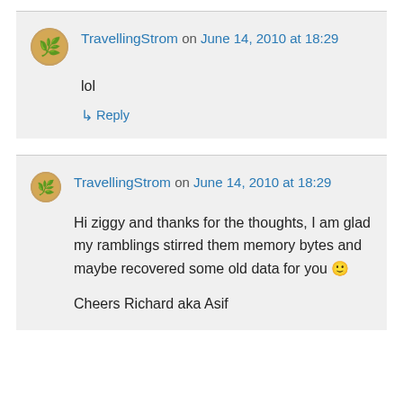TravellingStrom on June 14, 2010 at 18:29
lol
↳ Reply
TravellingStrom on June 14, 2010 at 18:29
Hi ziggy and thanks for the thoughts, I am glad my ramblings stirred them memory bytes and maybe recovered some old data for you 🙂
Cheers Richard aka Asif